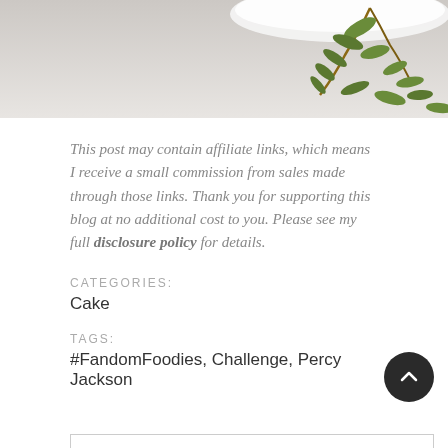[Figure (photo): Top banner photo showing a white surface with green herb sprigs (thyme or similar) on the right side, light neutral background.]
This post may contain affiliate links, which means I receive a small commission from sales made through those links. Thank you for supporting this blog at no additional cost to you. Please see my full disclosure policy for details.
CATEGORIES:
Cake
TAGS:
#FandomFoodies, Challenge, Percy Jackson